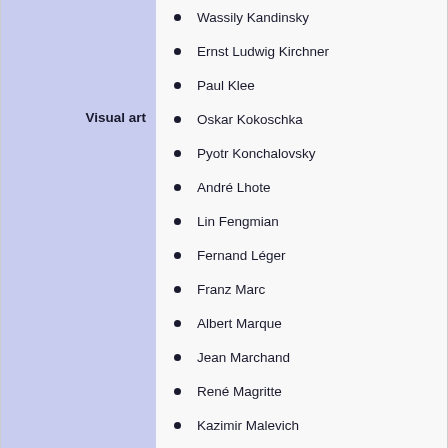Wassily Kandinsky
Ernst Ludwig Kirchner
Paul Klee
Oskar Kokoschka
Pyotr Konchalovsky
André Lhote
Lin Fengmian
Fernand Léger
Franz Marc
Albert Marque
Jean Marchand
René Magritte
Kazimir Malevich
Édouard Manet
Henri Matisse
Colin McCahon
Jean Metzinger
Joan Miró